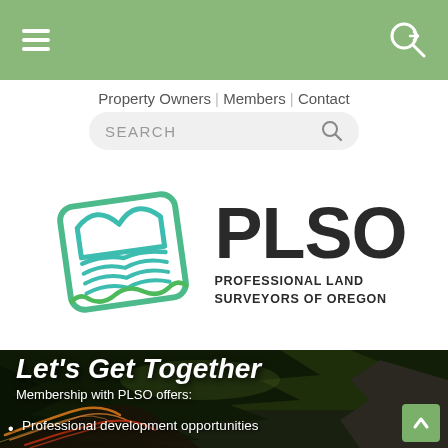≡  →)
Property Owners | Members | Contact
SEARCH
[Figure (logo): PLSO logo: geometric layered landscape icon in teal/green followed by large bold text 'PLSO' and subtitle 'PROFESSIONAL LAND SURVEYORS OF OREGON']
[Figure (photo): Aerial night photo of winding mountain road with light streaks through dense green forest]
Let's Get Together
Membership with PLSO offers:
Professional development opportunities
money saving programs